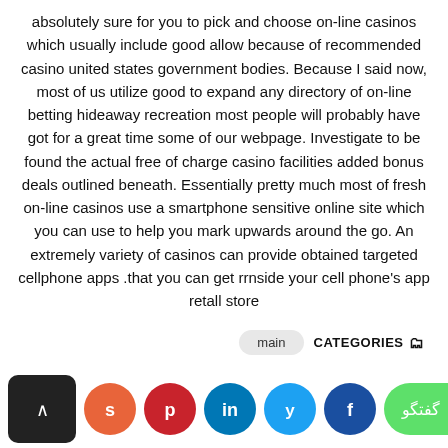absolutely sure for you to pick and choose on-line casinos which usually include good allow because of recommended casino united states government bodies. Because I said now, most of us utilize good to expand any directory of on-line betting hideaway recreation most people will probably have got for a great time some of our webpage. Investigate to be found the actual free of charge casino facilities added bonus deals outlined beneath. Essentially pretty much most of fresh on-line casinos use a smartphone sensitive online site which you can use to help you mark upwards around the go. An extremely variety of casinos can provide obtained targeted cellphone apps .that you can get rrnside your cell phone's app retall store
main   CATEGORIES
[Figure (other): Social sharing bar with back button, StumbleUpon, Pinterest, LinkedIn, Twitter, Facebook icons and a green WhatsApp chat button with Persian text گفتگو]